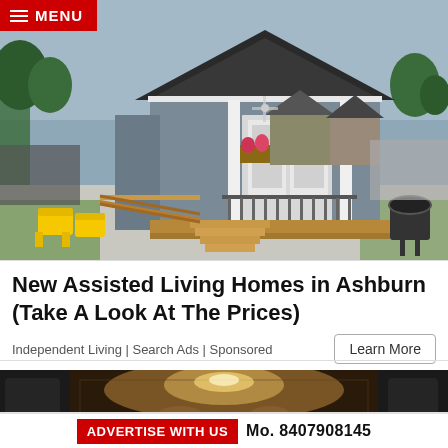[Figure (photo): Exterior photo of a small gray cottage-style assisted living home with white trim, wooden deck with ramps and stairs, flower box under window, yellow Adirondack chairs on left, grill on right, trees and other homes in background.]
New Assisted Living Homes in Ashburn (Take A Look At The Prices)
Independent Living | Search Ads | Sponsored
[Figure (photo): Interior/trunk photo showing what appears to be a vehicle trunk or cargo area with items inside, warm lighting.]
ADVERTISE WITH US   Mo. 8407908145